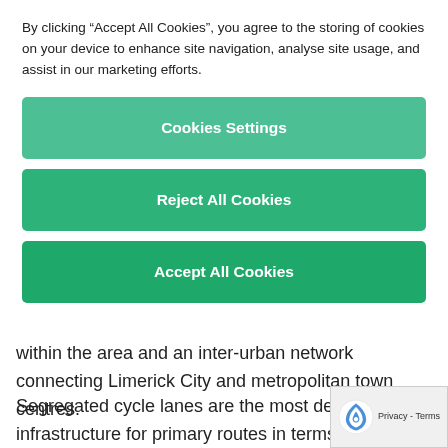By clicking “Accept All Cookies”, you agree to the storing of cookies on your device to enhance site navigation, analyse site usage, and assist in our marketing efforts.
Cookies Settings
Reject All Cookies
Accept All Cookies
within the area and an inter-urban network connecting Limerick City and metropolitan town centres.
Segregated cycle lanes are the most desirable infrastructure for primary routes in terms of safe comfort. Under the strategy, cycling infrastructu